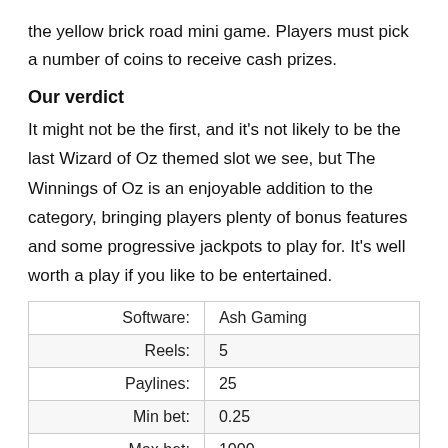the yellow brick road mini game. Players must pick a number of coins to receive cash prizes.
Our verdict
It might not be the first, and it's not likely to be the last Wizard of Oz themed slot we see, but The Winnings of Oz is an enjoyable addition to the category, bringing players plenty of bonus features and some progressive jackpots to play for. It's well worth a play if you like to be entertained.
| Software: | Ash Gaming |
| Reels: | 5 |
| Paylines: | 25 |
| Min bet: | 0.25 |
| Max bet: | 1000 |
| Release date: | 2014 |